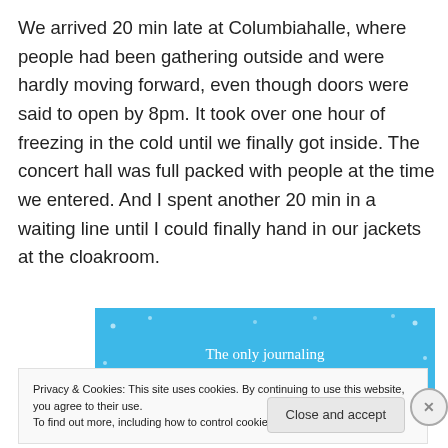We arrived 20 min late at Columbiahalle, where people had been gathering outside and were hardly moving forward, even though doors were said to open by 8pm. It took over one hour of freezing in the cold until we finally got inside. The concert hall was full packed with people at the time we entered. And I spent another 20 min in a waiting line until I could finally hand in our jackets at the cloakroom.
[Figure (other): Blue advertisement banner with text: The only journaling app you'll ever need.]
Privacy & Cookies: This site uses cookies. By continuing to use this website, you agree to their use.
To find out more, including how to control cookies, see here: Cookie Policy